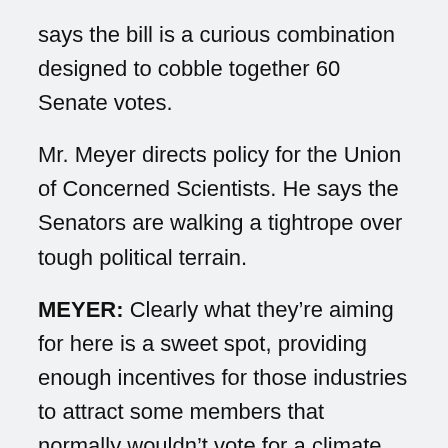says the bill is a curious combination designed to cobble together 60 Senate votes.
Mr. Meyer directs policy for the Union of Concerned Scientists. He says the Senators are walking a tightrope over tough political terrain.
MEYER: Clearly what they’re aiming for here is a sweet spot, providing enough incentives for those industries to attract some members that normally wouldn’t vote for a climate bill, particularly some of the additional republicans without alienating progressive democratic senators and scaring them away from the bill. So the bill will parallel the house-passed bill in terms of calling for a 17 percent reduction in U.S. greenhouse gas emissions by the year 2020.
It will put a mandatory cap on emissions of the majority of